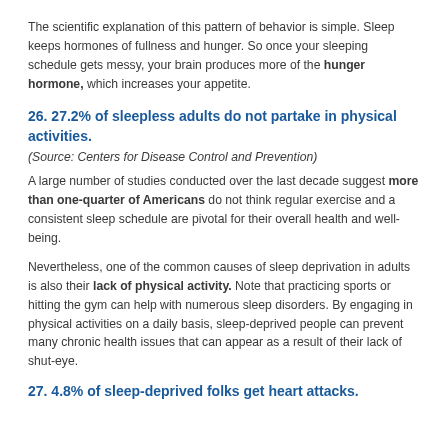The scientific explanation of this pattern of behavior is simple. Sleep keeps hormones of fullness and hunger. So once your sleeping schedule gets messy, your brain produces more of the hunger hormone, which increases your appetite.
26. 27.2% of sleepless adults do not partake in physical activities.
(Source: Centers for Disease Control and Prevention)
A large number of studies conducted over the last decade suggest more than one-quarter of Americans do not think regular exercise and a consistent sleep schedule are pivotal for their overall health and well-being.
Nevertheless, one of the common causes of sleep deprivation in adults is also their lack of physical activity. Note that practicing sports or hitting the gym can help with numerous sleep disorders. By engaging in physical activities on a daily basis, sleep-deprived people can prevent many chronic health issues that can appear as a result of their lack of shut-eye.
27. 4.8% of sleep-deprived folks get heart attacks.